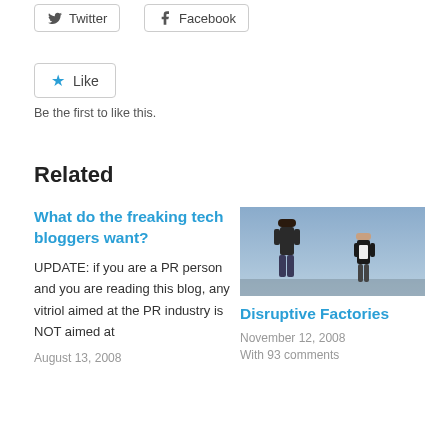[Figure (other): Twitter share button]
[Figure (other): Facebook share button]
[Figure (other): Like button with star icon]
Be the first to like this.
Related
What do the freaking tech bloggers want?
UPDATE: if you are a PR person and you are reading this blog, any vitriol aimed at the PR industry is NOT aimed at
August 13, 2008
[Figure (photo): Two men standing outdoors against a blue sky background]
Disruptive Factories
November 12, 2008
With 93 comments